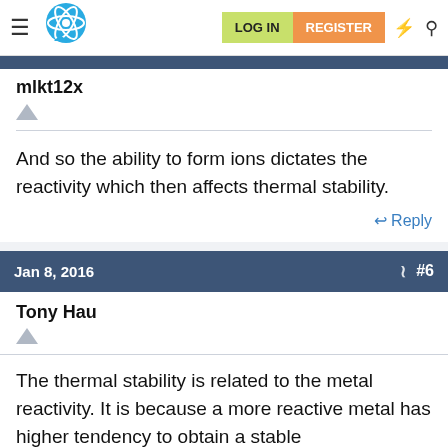LOG IN  REGISTER
mlkt12x
And so the ability to form ions dictates the reactivity which then affects thermal stability.
Reply
Jan 8, 2016  #6
Tony Hau
The thermal stability is related to the metal reactivity. It is because a more reactive metal has higher tendency to obtain a stable